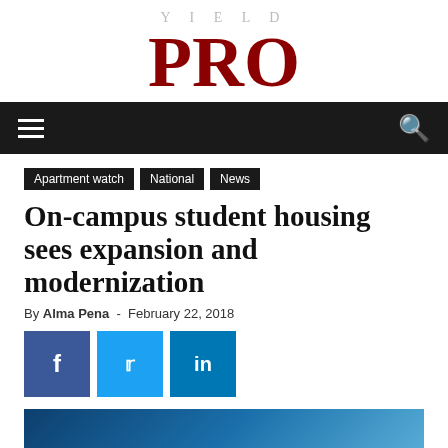YIELD PRO
Apartment watch | National | News
On-campus student housing sees expansion and modernization
By Alma Pena - February 22, 2018
[Figure (other): Social share buttons: Facebook, Twitter, LinkedIn]
[Figure (photo): Article header image showing a building, blue tones]